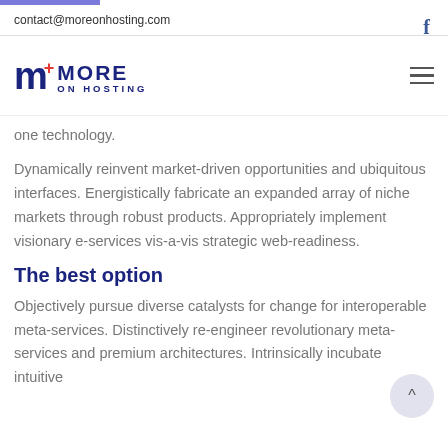contact@moreonhosting.com
[Figure (logo): More on Hosting logo with stylized M+ and text MORE ON HOSTING in dark blue]
one technology.
Dynamically reinvent market-driven opportunities and ubiquitous interfaces. Energistically fabricate an expanded array of niche markets through robust products. Appropriately implement visionary e-services vis-a-vis strategic web-readiness.
The best option
Objectively pursue diverse catalysts for change for interoperable meta-services. Distinctively re-engineer revolutionary meta-services and premium architectures. Intrinsically incubate intuitive